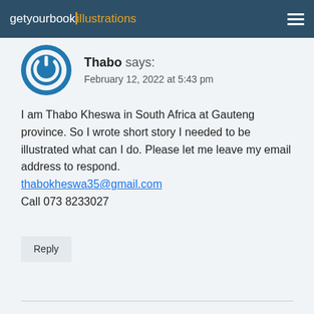getyourbookillustrations
Thabo says:
February 12, 2022 at 5:43 pm
I am Thabo Kheswa in South Africa at Gauteng province. So I wrote short story I needed to be illustrated what can I do. Please let me leave my email address to respond.
thabokheswa35@gmail.com
Call 073 8233027
Reply